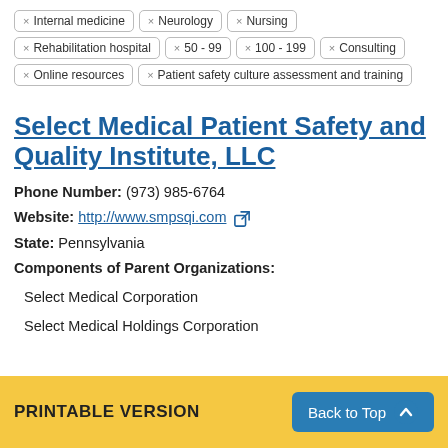× Internal medicine
× Neurology
× Nursing
× Rehabilitation hospital
× 50 - 99
× 100 - 199
× Consulting
× Online resources
× Patient safety culture assessment and training
Select Medical Patient Safety and Quality Institute, LLC
Phone Number: (973) 985-6764
Website: http://www.smpsqi.com
State: Pennsylvania
Components of Parent Organizations:
Select Medical Corporation
Select Medical Holdings Corporation
PRINTABLE VERSION   Back to Top